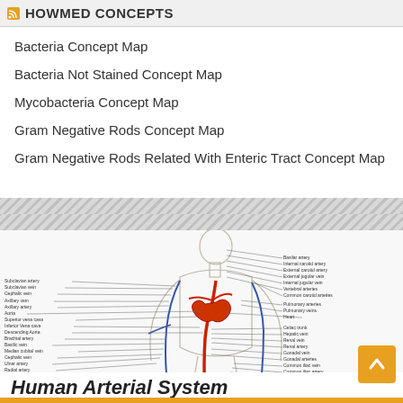HOWMED CONCEPTS
Bacteria Concept Map
Bacteria Not Stained Concept Map
Mycobacteria Concept Map
Gram Negative Rods Concept Map
Gram Negative Rods Related With Enteric Tract Concept Map
[Figure (illustration): Diagram of the Human Arterial System showing labeled arteries and veins throughout the body including subclavian artery, cephalic vein, axillary vein, axillary artery, aorta, superior vena cava, inferior vena cava, brachial artery, basilic vein, median cubital vein, cephalic vein, ulnar artery, radial artery, femoral digital veins, digital artery on the left side; and basilar artery, internal carotid artery, external carotid artery, external jugular vein, internal jugular vein, vertebral arteries, common carotid arteries, pulmonary arteries, pulmonary veins, heart, celiac trunk, hepatic vein, renal vein, renal artery, gonadal vein, gonadal arteries, common iliac vein, common iliac artery, internal iliac artery, external iliac vein, external iliac vein, great saphenous vein on the right side.]
Human Arterial System